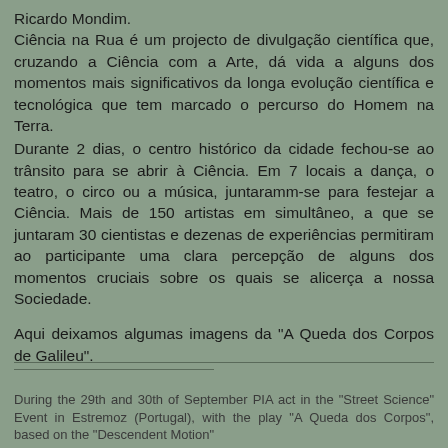Ricardo Mondim.
Ciência na Rua é um projecto de divulgação científica que, cruzando a Ciência com a Arte, dá vida a alguns dos momentos mais significativos da longa evolução científica e tecnológica que tem marcado o percurso do Homem na Terra.
Durante 2 dias, o centro histórico da cidade fechou-se ao trânsito para se abrir à Ciência. Em 7 locais a dança, o teatro, o circo ou a música, juntaramm-se para festejar a Ciência. Mais de 150 artistas em simultâneo, a que se juntaram 30 cientistas e dezenas de experiências permitiram ao participante uma clara percepção de alguns dos momentos cruciais sobre os quais se alicerça a nossa Sociedade.
Aqui deixamos algumas imagens da "A Queda dos Corpos de Galileu".
During the 29th and 30th of September PIA act in the "Street Science" Event in Estremoz (Portugal), with the play "A Queda dos Corpos", based on the "Descendent Motion"